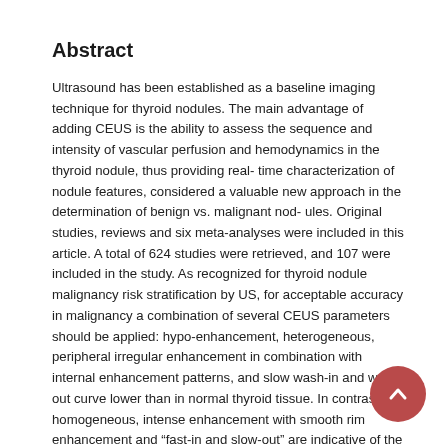Abstract
Ultrasound has been established as a baseline imaging technique for thyroid nodules. The main advantage of adding CEUS is the ability to assess the sequence and intensity of vascular perfusion and hemodynamics in the thyroid nodule, thus providing real-time characterization of nodule features, considered a valuable new approach in the determination of benign vs. malignant nodules. Original studies, reviews and six meta-analyses were included in this article. A total of 624 studies were retrieved, and 107 were included in the study. As recognized for thyroid nodule malignancy risk stratification by US, for acceptable accuracy in malignancy a combination of several CEUS parameters should be applied: hypo-enhancement, heterogeneous, peripheral irregular enhancement in combination with internal enhancement patterns, and slow wash-in and wash-out curve lower than in normal thyroid tissue. In contrast, homogeneous, intense enhancement with smooth rim enhancement and “fast-in and slow-out” are indicative of the benignity of the thyroid nodule. Even though overlapping features require standardization, with further research CEUS could be a reliable reference.